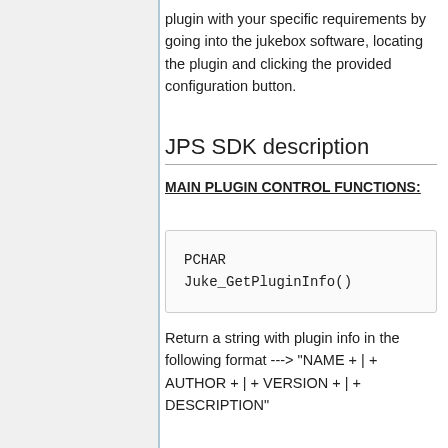plugin with your specific requirements by going into the jukebox software, locating the plugin and clicking the provided configuration button.
JPS SDK description
MAIN PLUGIN CONTROL FUNCTIONS:
Return a string with plugin info in the following format ---> "NAME + | + AUTHOR + | + VERSION + | + DESCRIPTION"